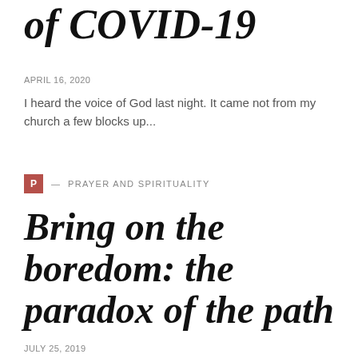of COVID-19
APRIL 16, 2020
I heard the voice of God last night. It came not from my church a few blocks up...
P — PRAYER AND SPIRITUALITY
Bring on the boredom: the paradox of the path
JULY 25, 2019